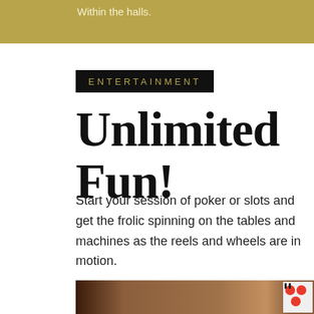Within the halls.
ENTERTAINMENT
Unlimited Fun!
Start your session of poker or slots and get the frolic spinning on the tables and machines as the reels and wheels are in motion.
READ MORE
[Figure (photo): Bottom portion of a casino interior showing wooden paneling and colorful gaming elements]